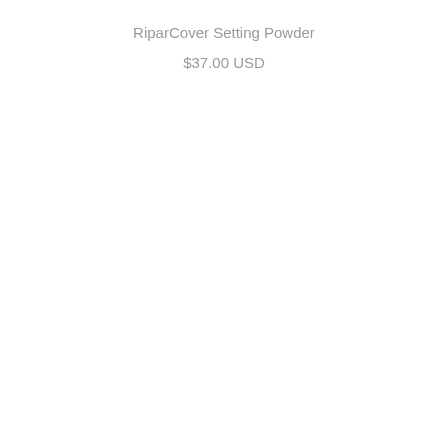RiparCover Setting Powder
$37.00 USD